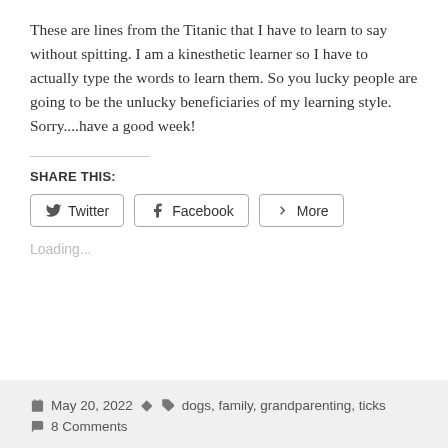These are lines from the Titanic that I have to learn to say without spitting. I am a kinesthetic learner so I have to actually type the words to learn them. So you lucky people are going to be the unlucky beneficiaries of my learning style. Sorry....have a good week!
SHARE THIS:
Twitter | Facebook | More
Loading...
May 20, 2022  dogs, family, grandparenting, ticks  8 Comments